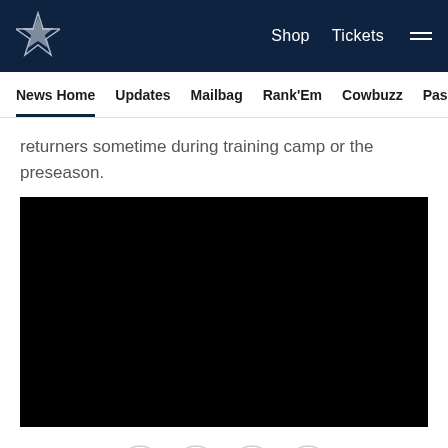Dallas Cowboys — Shop | Tickets | News Home | Updates | Mailbag | Rank'Em | Cowbuzz | Past/Pres
returners sometime during training camp or the preseason.
[Figure (screenshot): Black video player embed]
[Figure (other): Social share icons: Facebook, Twitter, Email, Link]